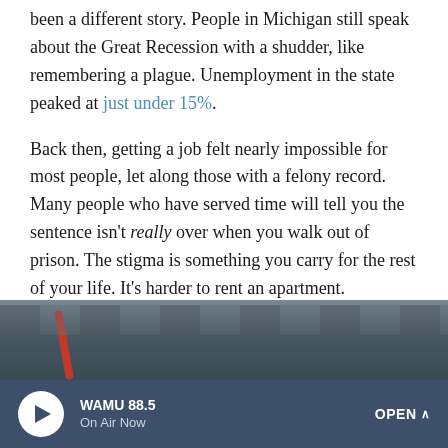been a different story. People in Michigan still speak about the Great Recession with a shudder, like remembering a plague. Unemployment in the state peaked at just under 15%.
Back then, getting a job felt nearly impossible for most people, let along those with a felony record. Many people who have served time will tell you the sentence isn't really over when you walk out of prison. The stigma is something you carry for the rest of your life. It's harder to rent an apartment. Companies shy away from hiring you. Robby Grant from Lansing, Mich., calls it "the other F-word": felony.
[Figure (photo): Partial view of an industrial interior, showing ceiling with a red pipe/beam visible against a grey background.]
WAMU 88.5 On Air Now OPEN